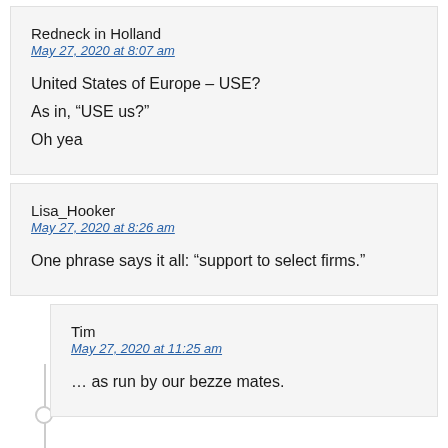Redneck in Holland
May 27, 2020 at 8:07 am

United States of Europe – USE?
As in, “USE us?”
Oh yea
Lisa_Hooker
May 27, 2020 at 8:26 am

One phrase says it all: “support to select firms.”
Tim
May 27, 2020 at 11:25 am

… as run by our bezze mates.